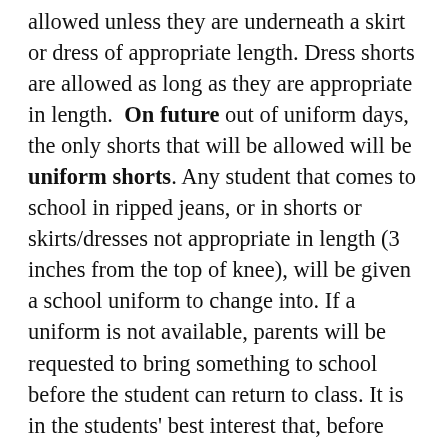allowed unless they are underneath a skirt or dress of appropriate length. Dress shorts are allowed as long as they are appropriate in length.  On future out of uniform days, the only shorts that will be allowed will be uniform shorts. Any student that comes to school in ripped jeans, or in shorts or skirts/dresses not appropriate in length (3 inches from the top of knee), will be given a school uniform to change into. If a uniform is not available, parents will be requested to bring something to school before the student can return to class. It is in the students' best interest that, before they come to school picture day, parents have made sure the outfit is appropriate in length and meets these guidelines.  Thanks for all you do.